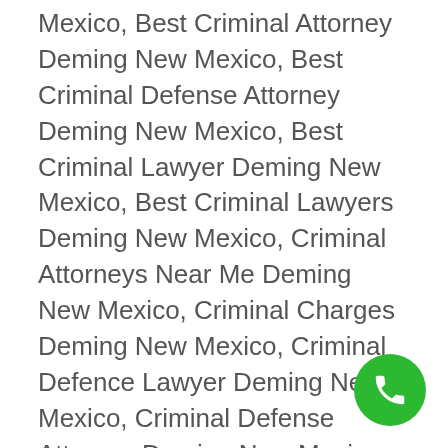Mexico, Best Criminal Attorney Deming New Mexico, Best Criminal Defense Attorney Deming New Mexico, Best Criminal Lawyer Deming New Mexico, Best Criminal Lawyers Deming New Mexico, Criminal Attorneys Near Me Deming New Mexico, Criminal Charges Deming New Mexico, Criminal Defence Lawyer Deming New Mexico, Criminal Defense Attorney Deming New Mexico, Criminal Defense Attorneys Deming New Mexico, Criminal Defense Deming New Mexico, Criminal Defense Lawyer Deming New Mexico, Criminal Defense Lawyers Deming New Mexico, Criminal Justice Attorney Deming New Mexico, Criminal Justice Lawyer Deming New Mexico, Criminal